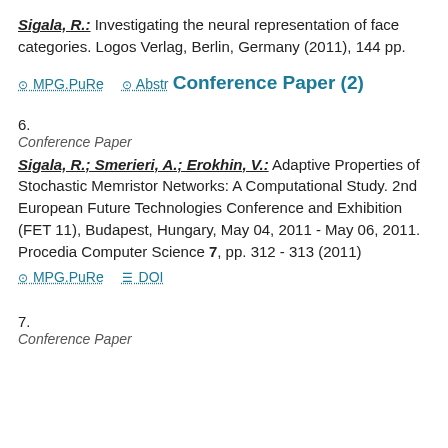Sigala, R.: Investigating the neural representation of face categories. Logos Verlag, Berlin, Germany (2011), 144 pp.
MPG.PuRe   Abstr
Conference Paper (2)
6.
Conference Paper
Sigala, R.; Smerieri, A.; Erokhin, V.: Adaptive Properties of Stochastic Memristor Networks: A Computational Study. 2nd European Future Technologies Conference and Exhibition (FET 11), Budapest, Hungary, May 04, 2011 - May 06, 2011. Procedia Computer Science 7, pp. 312 - 313 (2011)
MPG.PuRe   DOI
7.
Conference Paper